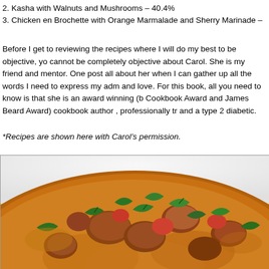2. Kasha with Walnuts and Mushrooms – 40.4%
3. Chicken en Brochette with Orange Marmalade and Sherry Marinade –
Before I get to reviewing the recipes where I will do my best to be objective, you cannot be completely objective about Carol. She is my friend and mentor. One post all about her when I can gather up all the words I need to express my admiration and love. For this book, all you need to know is that she is an award winning (IACP Cookbook Award and James Beard Award) cookbook author , professionally trained and a type 2 diabetic.
*Recipes are shown here with Carol's permission.
[Figure (photo): Close-up photo of a curry dish in a bowl — chunks of meat and spinach leaves in a golden/orange sauce, seen from above at an angle.]